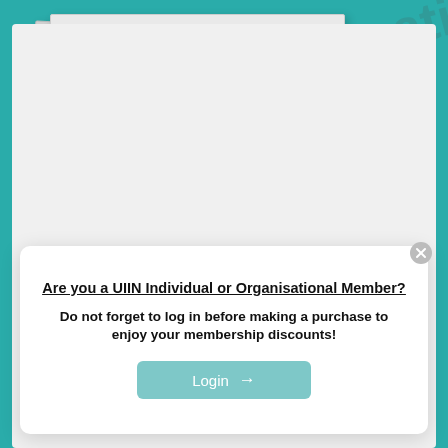[Figure (photo): Cover image of a publication titled 'Good Practice Series 2022: Fostering university-industry relationships, entrepreneurial universities and collaborative innovation', published by University Industry Innovation Network, shown as a stacked book/report against a teal background.]
Are you a UIIN Individual or Organisational Member?
Do not forget to log in before making a purchase to enjoy your membership discounts!
Login →